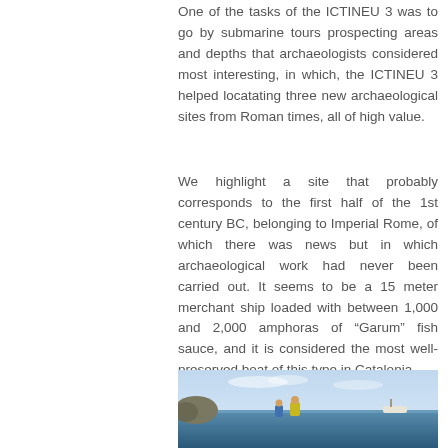One of the tasks of the ICTINEU 3 was to go by submarine tours prospecting areas and depths that archaeologists considered most interesting, in which, the ICTINEU 3 helped locatating three new archaeological sites from Roman times, all of high value.
We highlight a site that probably corresponds to the first half of the 1st century BC, belonging to Imperial Rome, of which there was news but in which archaeological work had never been carried out. It seems to be a 15 meter merchant ship loaded with between 1,000 and 2,000 amphoras of “Garum” fish sauce, and it is considered the most well-preserved boat of this type in Catalonia.
[Figure (photo): Photograph of people in a boat or on the sea surface, with a rocky outcrop visible on the left and a small white boat in the background on the right. The sea is blue and the sky is light blue with some clouds.]